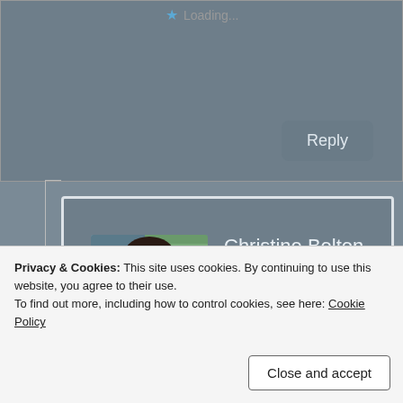Loading...
Reply
Christine Bolton
May 19, 2021 at 8:49 am
Thank you Laura 😊
Loading...
Reply
Privacy & Cookies: This site uses cookies. By continuing to use this website, you agree to their use. To find out more, including how to control cookies, see here: Cookie Policy
Close and accept
I totally second RothPoetry's comments